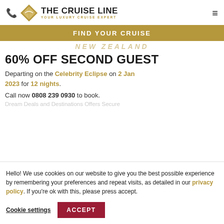THE CRUISE LINE – YOUR LUXURY CRUISE EXPERT
FIND YOUR CRUISE
60% OFF SECOND GUEST
Departing on the Celebrity Eclipse on 2 Jan 2023 for 12 nights.
Call now 0808 239 0930 to book.
Dream Deals and Destinations Offers Secure
Hello! We use cookies on our website to give you the best possible experience by remembering your preferences and repeat visits, as detailed in our privacy policy. If you're ok with this, please press accept.
Cookie settings
ACCEPT